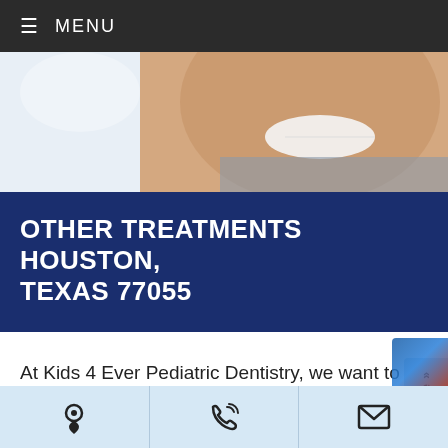≡ MENU
[Figure (photo): Close-up of a smiling child in a dental chair, with light background on left and warm skin tones on right]
OTHER TREATMENTS HOUSTON, TEXAS 77055
At Kids 4 Ever Pediatric Dentistry, we want to ensure that each child and their family is informed and comfortable from the moment they walk into the office. Starting in our waiting room, we offer a play area and iPads for our young patients. We also offer TV monitors on the ceiling of each treatment room to help keep children happ
Location | Phone | Email